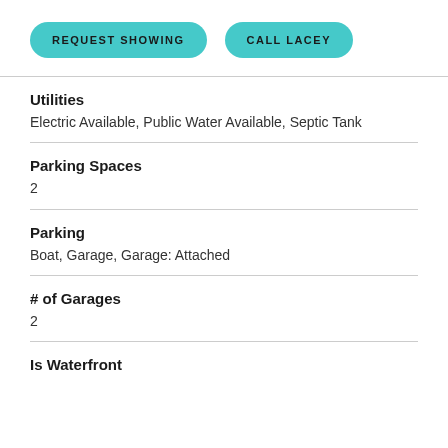REQUEST SHOWING
CALL LACEY
Utilities
Electric Available, Public Water Available, Septic Tank
Parking Spaces
2
Parking
Boat, Garage, Garage: Attached
# of Garages
2
Is Waterfront